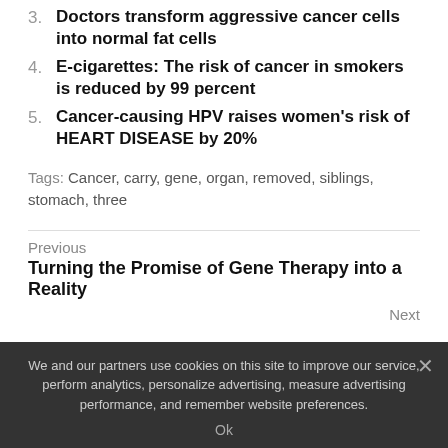3. Doctors transform aggressive cancer cells into normal fat cells
4. E-cigarettes: The risk of cancer in smokers is reduced by 99 percent
5. Cancer-causing HPV raises women's risk of HEART DISEASE by 20%
Tags: Cancer, carry, gene, organ, removed, siblings, stomach, three
Previous
Turning the Promise of Gene Therapy into a Reality
Next
We and our partners use cookies on this site to improve our service, perform analytics, personalize advertising, measure advertising performance, and remember website preferences.
Ok